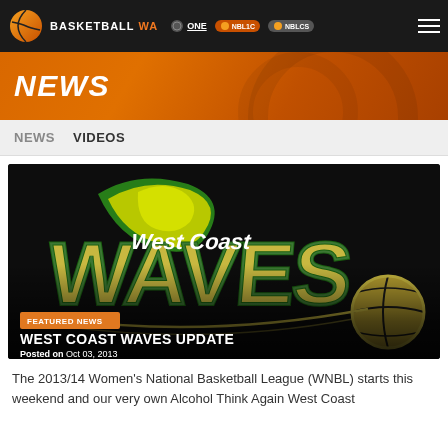Basketball WA - ONE - NEWS
NEWS
NEWS  VIDEOS
[Figure (logo): West Coast Waves basketball team logo on dark background with green and gold wave design and basketball]
FEATURED NEWS
WEST COAST WAVES UPDATE
Posted on Oct 03, 2013
The 2013/14 Women's National Basketball League (WNBL) starts this weekend and our very own Alcohol Think Again West Coast